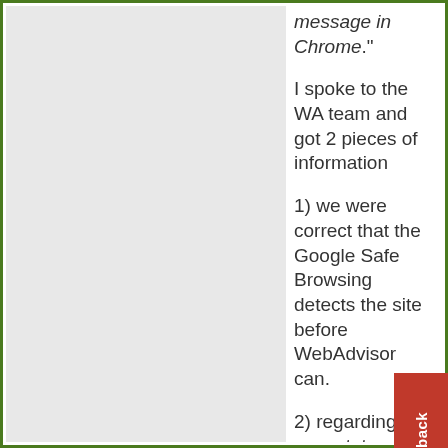message in Chrome.”
I spoke to the WA team and got 2 pieces of information
1) we were correct that the Google Safe Browsing detects the site before WebAdvisor can.
2) regarding your statement above, you are correct. This is indeed a defect – it was recently discovered and